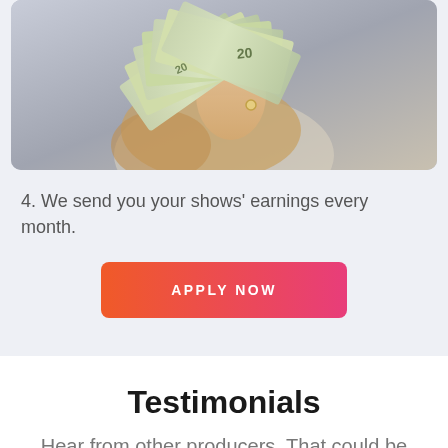[Figure (photo): A woman holding a fan of $20 bills in front of her face, with blonde hair visible. The photo is set against a light background.]
4. We send you your shows' earnings every month.
APPLY NOW
Testimonials
Hear from other producers. That could be you!